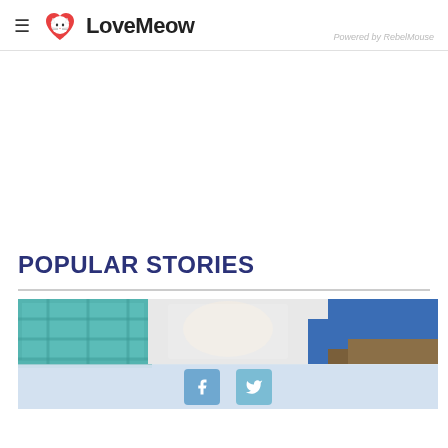LoveMeow — Powered by RebelMouse
POPULAR STORIES
[Figure (photo): A photo showing a cat with a person wearing a blue shirt, with a plaid/checkered blanket visible and social share buttons (Facebook, Twitter) overlaid at the bottom.]